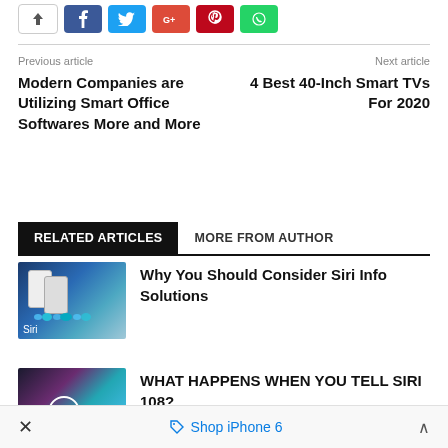[Figure (other): Social share buttons: white/arrow, Facebook blue, Twitter cyan, Google+ red, Pinterest red, WhatsApp green]
Previous article
Modern Companies are Utilizing Smart Office Softwares More and More
Next article
4 Best 40-Inch Smart TVs For 2020
RELATED ARTICLES   MORE FROM AUTHOR
[Figure (photo): Siri-related article thumbnail showing two smartphones with Siri interface and a waveform, labeled 'Siri']
Why You Should Consider Siri Info Solutions
[Figure (photo): Siri 108 article thumbnail showing a hand with colorful background and Siri circle icon]
WHAT HAPPENS WHEN YOU TELL SIRI 108?
× Shop iPhone 6 ^